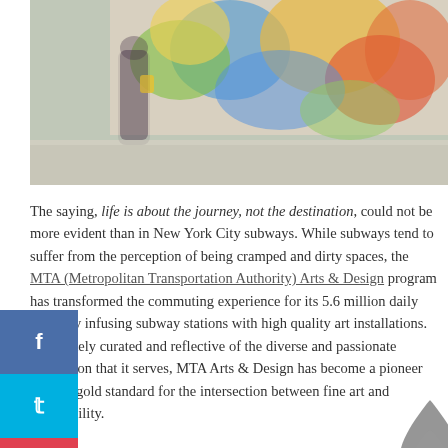[Figure (photo): Photo of a person walking past a colorful subway mural, blurred motion, tiled floor visible at bottom]
The saying, life is about the journey, not the destination, could not be more evident than in New York City subways. While subways tend to suffer from the perception of being cramped and dirty spaces, the MTA (Metropolitan Transportation Authority) Arts & Design program has transformed the commuting experience for its 5.6 million daily riders by infusing subway stations with high quality art installations. Exquisitely curated and reflective of the diverse and passionate population that it serves, MTA Arts & Design has become a pioneer and the gold standard for the intersection between fine art and accessibility.
The following is an interview with Sandra Bloodworth,